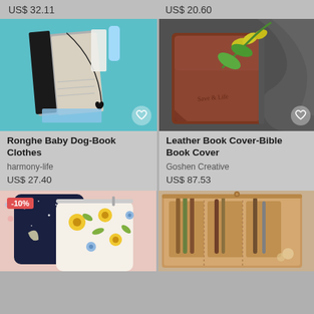US$ 32.11
US$ 20.60
[Figure (photo): Ronghe Baby Dog-Book Clothes product photo showing a black and grey notebook/journal with a heart pendant on a teal background]
[Figure (photo): Leather Book Cover-Bible Book Cover product photo showing a brown leather book cover with yellow flowers on dark grey background]
Ronghe Baby Dog-Book Clothes
harmony-life
US$ 27.40
Leather Book Cover-Bible Book Cover
Goshen Creative
US$ 87.53
[Figure (photo): Partial view of a laptop sleeve product with floral pattern, -10% discount badge, on pink background]
[Figure (photo): Partial view of a tan/brown leather organizer product on neutral background]